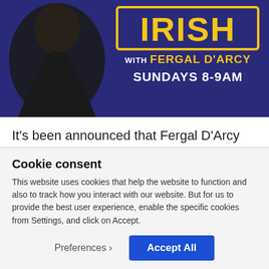[Figure (photo): Radio show promotional image with text 'IRISH WITH FERGAL D'ARCY SUNDAYS 8-9AM' on a blue background, with a man in a dark jacket on the left side.]
It's been announced that Fergal D'Arcy will be leaving Today FM after a number of changes made at the station.
While Fergal will continue to present his evening show
Cookie consent
This website uses cookies that help the website to function and also to track how you interact with our website. But for us to provide the best user experience, enable the specific cookies from Settings, and click on Accept.
Preferences   Accept All